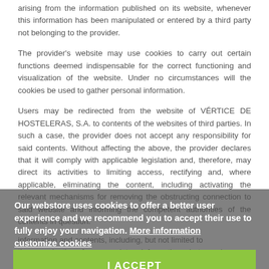arising from the information published on its website, whenever this information has been manipulated or entered by a third party not belonging to the provider.
The provider's website may use cookies to carry out certain functions deemed indispensable for the correct functioning and visualization of the website. Under no circumstances will the cookies be used to gather personal information.
Users may be redirected from the website of VÉRTICE DE HOSTELERAS, S.A. to contents of the websites of third parties. In such a case, the provider does not accept any responsibility for said contents. Without affecting the above, the provider declares that it will comply with applicable legislation and, therefore, may direct its activities to limiting access, rectifying and, where applicable, eliminating the content, including activating the relevant mechanisms for removing the obstructing connection to said website and informing the competent authorities of the contents in question.
Our webstore uses cookies to offer a better user experience and we recommend you to accept their use to fully enjoy your navigation. More information customize cookies
I ACCEPT
information and contents, including, but not limited to the reproduction of any proprietary information, photographs,